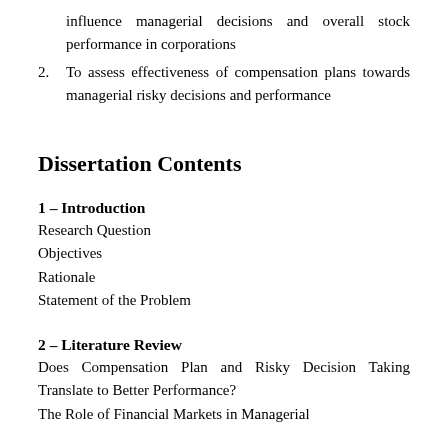influence managerial decisions and overall stock performance in corporations
2. To assess effectiveness of compensation plans towards managerial risky decisions and performance
Dissertation Contents
1 – Introduction
Research Question
Objectives
Rationale
Statement of the Problem
2 – Literature Review
Does Compensation Plan and Risky Decision Taking Translate to Better Performance?
The Role of Financial Markets in Managerial…